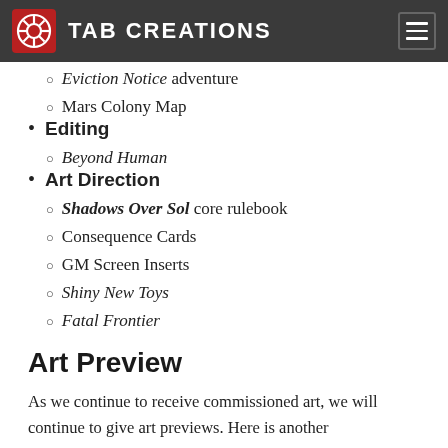TAB CREATIONS
Eviction Notice adventure
Mars Colony Map
Editing
Beyond Human
Art Direction
Shadows Over Sol core rulebook
Consequence Cards
GM Screen Inserts
Shiny New Toys
Fatal Frontier
Art Preview
As we continue to receive commissioned art, we will continue to give art previews. Here is another